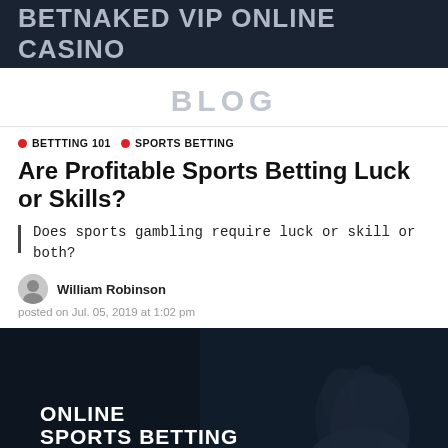BETNAKED VIP ONLINE CASINO
BLOG
BETTTING 101  SPORTS BETTING
Are Profitable Sports Betting Luck or Skills?
Does sports gambling require luck or skill or both?
William Robinson
posted on Jul. 05, 2019 at 1:02 pm
[Figure (photo): Dark background image showing a hand/fist with text overlay: ONLINE SPORTS BETTING LUCK OR SKILL?]